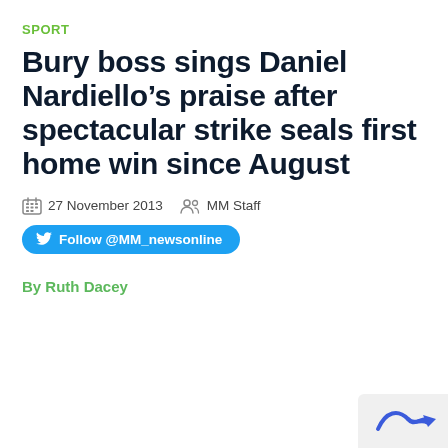SPORT
Bury boss sings Daniel Nardiello’s praise after spectacular strike seals first home win since August
27 November 2013  MM Staff
Follow @MM_newsonline
By Ruth Dacey